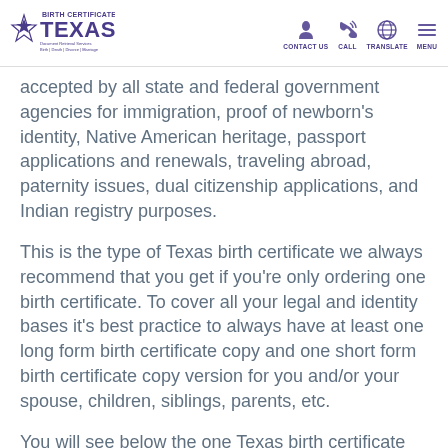Birth Certificate Texas — CONTACT US | CALL | TRANSLATE | MENU
accepted by all state and federal government agencies for immigration, proof of newborn's identity, Native American heritage, passport applications and renewals, traveling abroad, paternity issues, dual citizenship applications, and Indian registry purposes.
This is the type of Texas birth certificate we always recommend that you get if you're only ordering one birth certificate. To cover all your legal and identity bases it's best practice to always have at least one long form birth certificate copy and one short form birth certificate copy version for you and/or your spouse, children, siblings, parents, etc.
You will see below the one Texas birth certificate